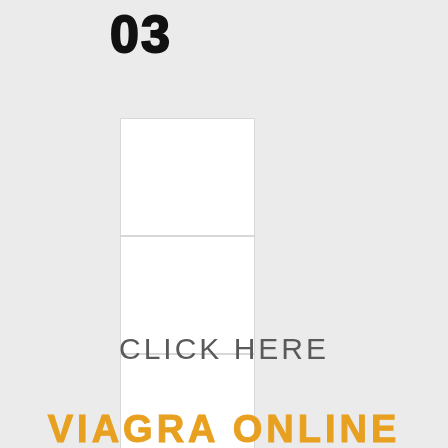03
[Figure (other): A vertical stack of 5 white rectangular boxes/panels on a light grey background]
CLICK HERE
VIAGRA ONLINE